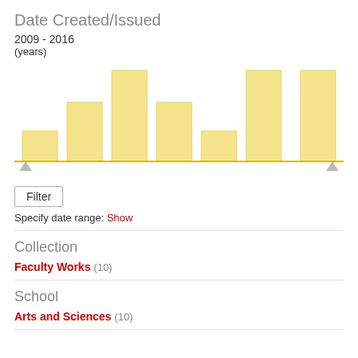Date Created/Issued
2009 - 2016
(years)
[Figure (bar-chart): Date Created/Issued]
Filter
Specify date range: Show
Collection
Faculty Works (10)
School
Arts and Sciences (10)